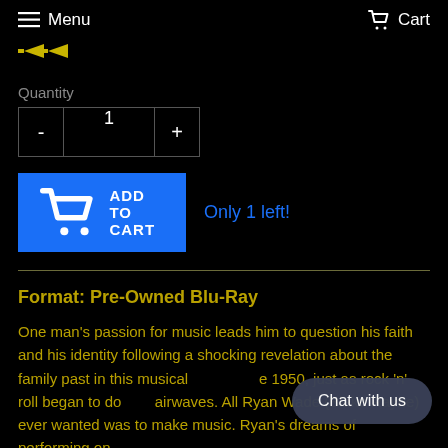Menu  Cart
[Figure (illustration): Yellow double arrow/chevron icons pointing left]
Quantity
- 1 +
ADD TO CART   Only 1 left!
Format: Pre-Owned Blu-Ray
One man's passion for music leads him to question his faith and his identity following a shocking revelation about the family past in this musical...1950, just as rock 'n' roll began to do...airwaves. All Ryan Wade (Blake Rayne) ever wanted was to make music. Ryan's dreams of performing on